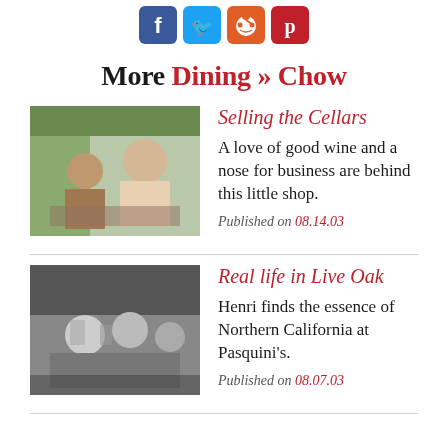[Figure (other): Social media sharing icons: Facebook (blue), Twitter (blue), Reddit (orange), Pinterest (red)]
More Dining » Chow
[Figure (photo): Color photo of people at a wine shop or dining setting, man and woman visible]
Selling the Cellars
A love of good wine and a nose for business are behind this little shop.
Published on 08.14.03
[Figure (photo): Black and white photo of people dining at a restaurant]
Real life in Live Oak
Henri finds the essence of Northern California at Pasquini's.
Published on 08.07.03